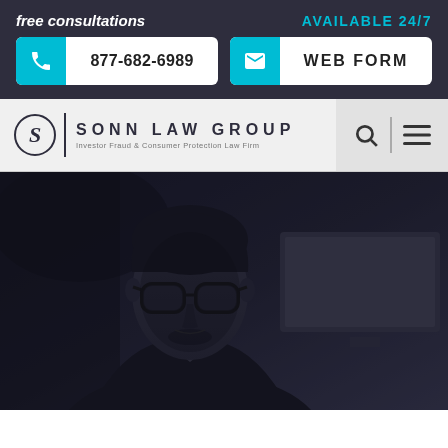free consultations
AVAILABLE 24/7
877-682-6989
WEB FORM
[Figure (logo): Sonn Law Group logo with stylized S in circle, vertical divider, firm name and tagline 'Investor Fraud & Consumer Protection Law Firm']
[Figure (photo): Black and white photo of a man wearing glasses, dark hair, wearing a suit, looking slightly downward, with office/computer background]